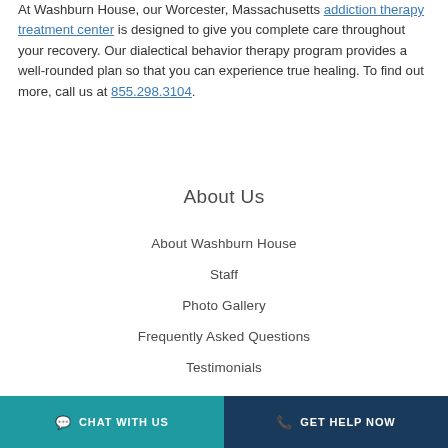At Washburn House, our Worcester, Massachusetts addiction therapy treatment center is designed to give you complete care throughout your recovery. Our dialectical behavior therapy program provides a well-rounded plan so that you can experience true healing. To find out more, call us at 855.298.3104.
About Us
About Washburn House
Staff
Photo Gallery
Frequently Asked Questions
Testimonials
CHAT WITH US | GET HELP NOW